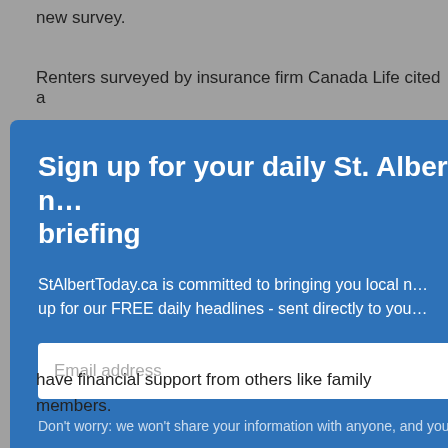new survey.
Renters surveyed by insurance firm Canada Life cited a
Sign up for your daily St. Albert news briefing
StAlbertToday.ca is committed to bringing you local news. Sign up for our FREE daily headlines - sent directly to you.
Email address
Don't worry: we won't share your information with anyone, and you
have financial support from others like family members.